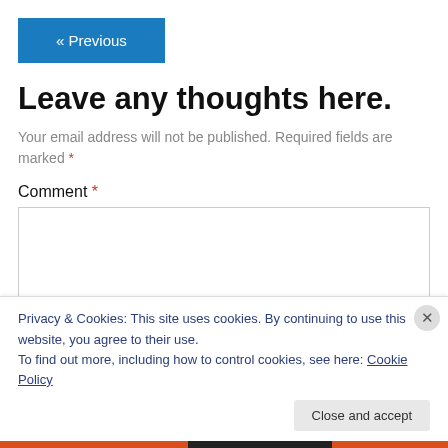« Previous
Leave any thoughts here.
Your email address will not be published. Required fields are marked *
Comment *
Privacy & Cookies: This site uses cookies. By continuing to use this website, you agree to their use.
To find out more, including how to control cookies, see here: Cookie Policy